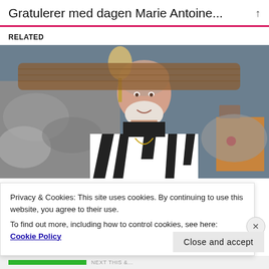Gratulerer med dagen Marie Antoine...
RELATED
[Figure (photo): An elderly bald man with a white beard sitting on a bed with fur bedding, wearing a black and white zebra-print vest over a black turtleneck, with a lamp and bedside table visible in the background.]
Privacy & Cookies: This site uses cookies. By continuing to use this website, you agree to their use.
To find out more, including how to control cookies, see here: Cookie Policy
Close and accept